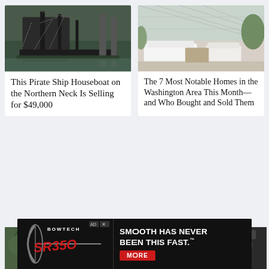[Figure (photo): Pirate ship houseboat docked at a pier on the water, decorated with chains and skeletal figures]
This Pirate Ship Houseboat on the Northern Neck Is Selling for $49,000
[Figure (photo): Bright sunlit conservatory/greenhouse interior with white sofas and wicker furniture]
The 7 Most Notable Homes in the Washington Area This Month—and Who Bought and Sold Them
[Figure (photo): Aerial view of a large estate surrounded by dense green trees]
[Figure (photo): Split image of a modern office interior with bright lighting on the left and a darker industrial space on the right]
[Figure (infographic): Bowtech SR350 advertisement banner: SMOOTH HAS NEVER BEEN THIS FAST. MORE button]